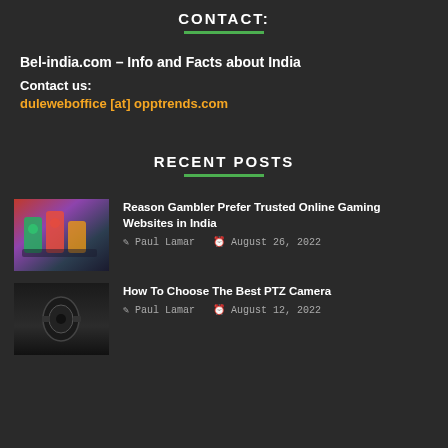CONTACT:
Bel-india.com – Info and Facts about India
Contact us:
duleweboffice [at] opptrends.com
RECENT POSTS
[Figure (photo): Thumbnail image of casino gaming chips and equipment in red and green lighting]
Reason Gambler Prefer Trusted Online Gaming Websites in India
Paul Lamar  August 26, 2022
[Figure (photo): Thumbnail image of a dark PTZ camera silhouette]
How To Choose The Best PTZ Camera
Paul Lamar  August 12, 2022